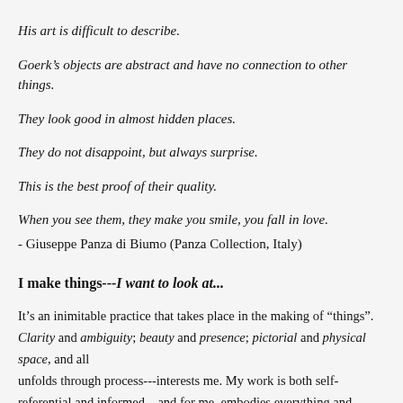His art is difficult to describe.
Goerk's objects are abstract and have no connection to other things.
They look good in almost hidden places.
They do not disappoint, but always surprise.
This is the best proof of their quality.
When you see them, they make you smile, you fall in love.
- Giuseppe Panza di Biumo (Panza Collection, Italy)
I make things---I want to look at...
It’s an inimitable practice that takes place in the making of “things”. Clarity and ambiguity; beauty and presence; pictorial and physical space, and all that unfolds through process---interests me. My work is both self-referential and informed---and for me, embodies everything and nothing. My process is both intuitive and empirical---deliberately pursuing an honest and complex spirit, while conjuring that which is already there, but has not been seen. - David Goerk